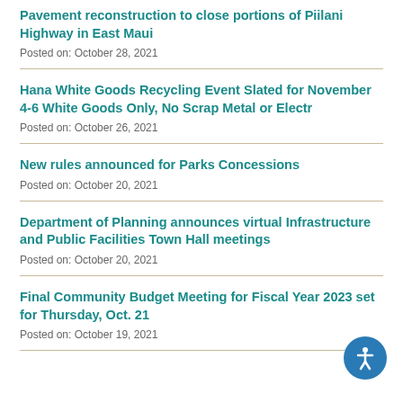Pavement reconstruction to close portions of Piilani Highway in East Maui
Posted on: October 28, 2021
Hana White Goods Recycling Event Slated for November 4-6 White Goods Only, No Scrap Metal or Electr
Posted on: October 26, 2021
New rules announced for Parks Concessions
Posted on: October 20, 2021
Department of Planning announces virtual Infrastructure and Public Facilities Town Hall meetings
Posted on: October 20, 2021
Final Community Budget Meeting for Fiscal Year 2023 set for Thursday, Oct. 21
Posted on: October 19, 2021